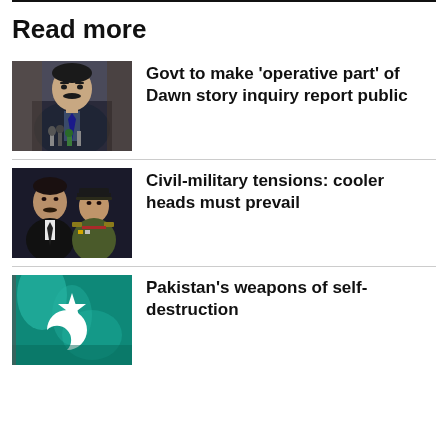Read more
[Figure (photo): Man at a press conference with microphones]
Govt to make 'operative part' of Dawn story inquiry report public
[Figure (photo): Two men, one in civilian clothing and one in military uniform]
Civil-military tensions: cooler heads must prevail
[Figure (photo): Pakistan flag with star and crescent on teal background]
Pakistan's weapons of self-destruction